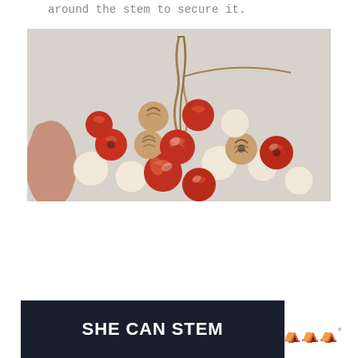around the stem to secure it.
[Figure (photo): Close-up photo of red and cream/beige decorative beads gathered together with a twisted cord/wire stem at the top, held by a hand visible at the left edge. The beads have swirled red and brown patterns on some and plain cream on others.]
[Figure (logo): Banner with dark navy background showing 'SHE CAN STEM' in bold white uppercase text, with a stylized 'W' logo with degree symbol to the right.]